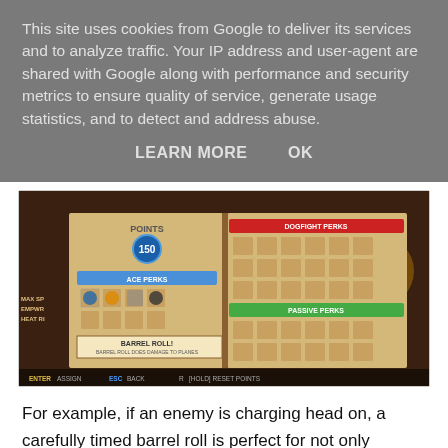This site uses cookies from Google to deliver its services and to analyze traffic. Your IP address and user-agent are shared with Google along with performance and security metrics to ensure quality of service, generate usage statistics, and to detect and address abuse.
LEARN MORE    OK
[Figure (screenshot): Game screenshot showing a skill point assignment screen with BARREL ROLL highlighted, in a brown book-like interface. Shows POINTS: 150, ACE PERKS section with various icons, weapon upgrades on right side labeled DOGFIGHT PERKS and PASSIVE PERKS. Bottom shows controls: ASSIGN, BACK, [HOLD] RESET POINTS. Left side partially cut off showing MAX SP, EMPWR, HEAT RI text.]
For example, if an enemy is charging head on, a carefully timed barrel roll is perfect for not only avoiding their bullets but also destroying them if you make contact. You can also tag an enemy and get friendlies to attack on your command, as well as the quick U-turn manoeuvre.